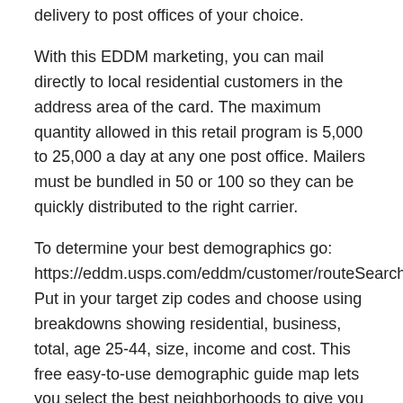delivery to post offices of your choice.
With this EDDM marketing, you can mail directly to local residential customers in the address area of the card. The maximum quantity allowed in this retail program is 5,000 to 25,000 a day at any one post office. Mailers must be bundled in 50 or 100 so they can be quickly distributed to the right carrier.
To determine your best demographics go:
https://eddm.usps.com/eddm/customer/routeSearch.action
Put in your target zip codes and choose using breakdowns showing residential, business, total, age 25-44, size, income and cost. This free easy-to-use demographic guide map lets you select the best neighborhoods to give you a fast return on your investment.
You can deliver to other post offices as long as you send a minimum of 5,000 to each. This is so the post offices are not overloaded with Every Door Direct Mail. Another advantage is that many printing services offer full service mailing. They do the paperwork, bundling and delivery to your post offices of your choice. Having your printing service do the mailing for you allows you to